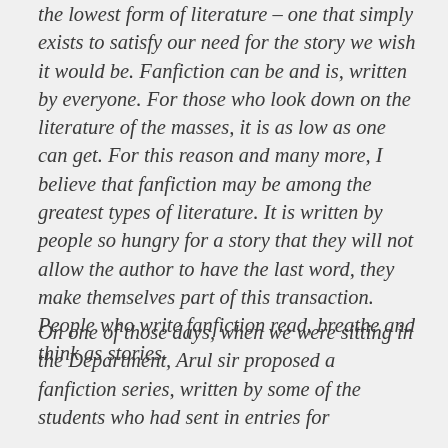the lowest form of literature – one that simply exists to satisfy our need for the story we wish it would be. Fanfiction can be and is, written by everyone. For those who look down on the literature of the masses, it is as low as one can get. For this reason and many more, I believe that fanfiction may be among the greatest types of literature. It is written by people so hungry for a story that they will not allow the author to have the last word, they make themselves part of this transaction. People who write fanfiction read, breathe and think as stories.
On one of those days, when we were sitting in the Department, Arul sir proposed a fanfiction series, written by some of the students who had sent in entries for